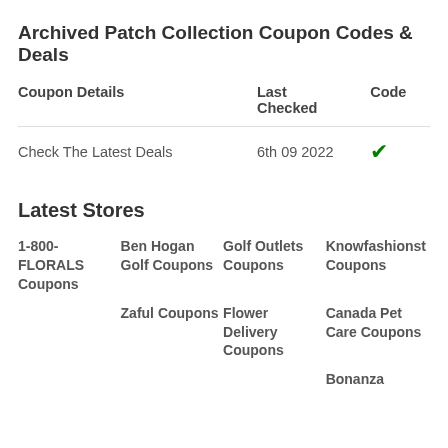Archived Patch Collection Coupon Codes & Deals
| Coupon Details | Last Checked | Code |
| --- | --- | --- |
| Check The Latest Deals | 6th 09 2022 | ✓ |
Latest Stores
1-800-FLORALS Coupons
Ben Hogan Golf Coupons
Golf Outlets Coupons
Knowfashionst Coupons
Zaful Coupons
Flower Delivery Coupons
Canada Pet Care Coupons
Bonanza